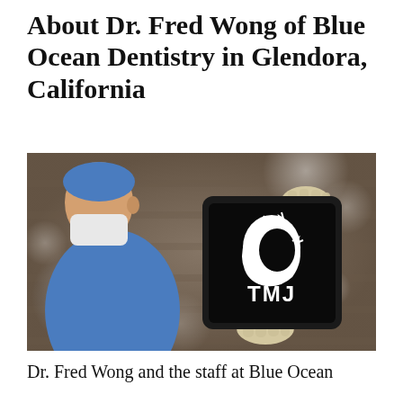About Dr. Fred Wong of Blue Ocean Dentistry in Glendora, California
[Figure (photo): A dentist wearing blue scrubs, surgical mask, and latex gloves holds a black tablet displaying a TMJ logo (white silhouette of a head with lightning bolts and the text TMJ) against a blurred brick wall background with bokeh light effects.]
Dr. Fred Wong and the staff at Blue Ocean